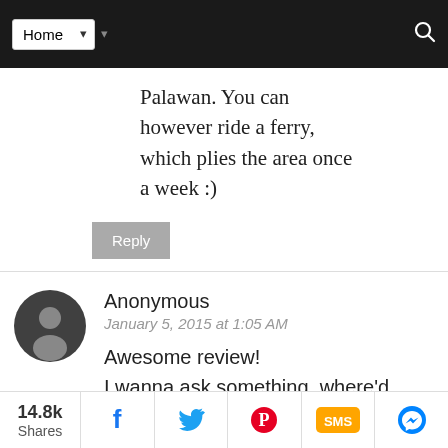Home (navigation bar with search)
Palawan. You can however ride a ferry, which plies the area once a week :)
Reply
Anonymous
January 5, 2015 at 1:05 AM
Awesome review!
I wanna ask something, where'd you exactly stay in corong corong? Ithere are so many
14.8k Shares | Facebook | Twitter | Pinterest | SMS | Messenger